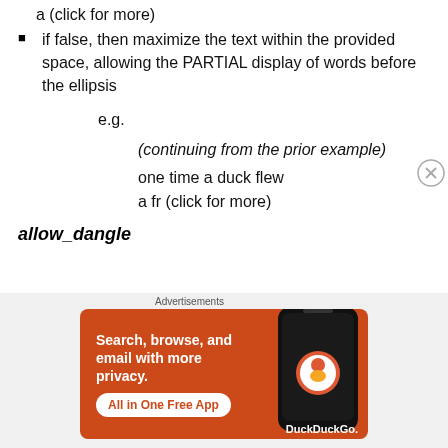a (click for more)
if false, then maximize the text within the provided space, allowing the PARTIAL display of words before the ellipsis
e.g.
(continuing from the prior example)
one time a duck flew
a fr (click for more)
allow_dangle
[Figure (other): DuckDuckGo advertisement banner with orange background showing 'Search, browse, and email with more privacy. All in One Free App' with a phone graphic]